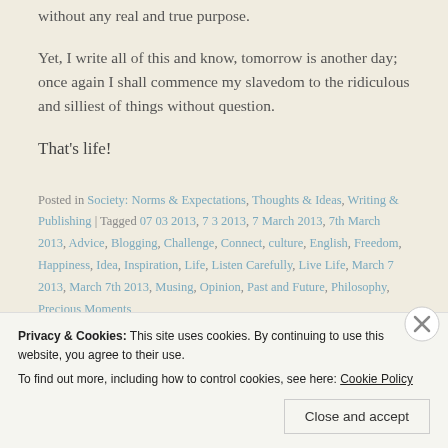without any real and true purpose.
Yet, I write all of this and know, tomorrow is another day; once again I shall commence my slavedom to the ridiculous and silliest of things without question.
That's life!
Posted in Society: Norms & Expectations, Thoughts & Ideas, Writing & Publishing | Tagged 07 03 2013, 7 3 2013, 7 March 2013, 7th March 2013, Advice, Blogging, Challenge, Connect, culture, English, Freedom, Happiness, Idea, Inspiration, Life, Listen Carefully, Live Life, March 7 2013, March 7th 2013, Musing, Opinion, Past and Future, Philosophy, Precious Moments,
Privacy & Cookies: This site uses cookies. By continuing to use this website, you agree to their use. To find out more, including how to control cookies, see here: Cookie Policy
Close and accept